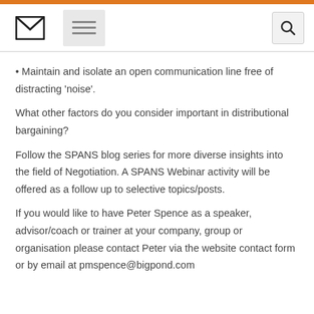Navigation header with envelope icon, menu button, and search button
Maintain and isolate an open communication line free of distracting 'noise'.
What other factors do you consider important in distributional bargaining?
Follow the SPANS blog series for more diverse insights into the field of Negotiation. A SPANS Webinar activity will be offered as a follow up to selective topics/posts.
If you would like to have Peter Spence as a speaker, advisor/coach or trainer at your company, group or organisation please contact Peter via the website contact form or by email at pmspence@bigpond.com